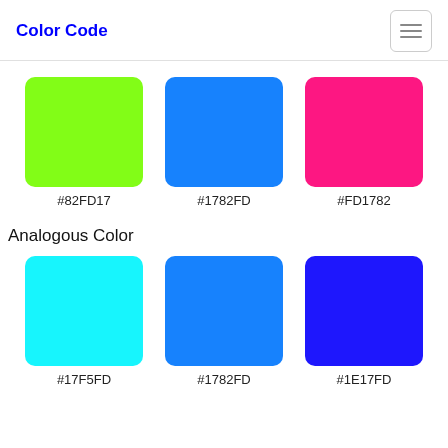Color Code
[Figure (infographic): Three color swatches: green #82FD17, blue #1782FD, pink #FD1782]
#82FD17
#1782FD
#FD1782
Analogous Color
[Figure (infographic): Three color swatches: cyan #17F5FD, blue #1782FD, dark blue #1E17FD]
#17F5FD
#1782FD
#1E17FD